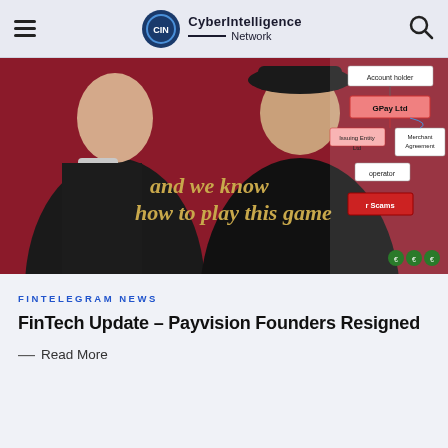CyberIntelligence Network
[Figure (photo): Two men in dark clothing standing in front of a dark red/maroon background. Text overlay reads 'and we know how to play this game.' The right side shows a partially visible business diagram with boxes labeled 'Account holder', 'GPay Ltd', 'Issuing Entity', 'Ltd', 'operator', 'r Scams', and 'Merchant Agreement'.]
FINTELEGRAM NEWS
FinTech Update – Payvision Founders Resigned
— Read More